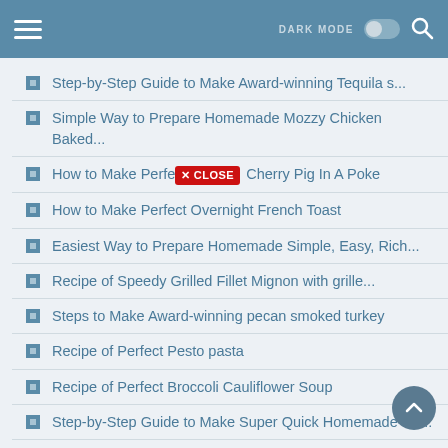DARK MODE [toggle] [search]
Step-by-Step Guide to Make Award-winning Tequila s...
Simple Way to Prepare Homemade Mozzy Chicken Baked...
How to Make Perfect Cherry Pig In A Poke
How to Make Perfect Overnight French Toast
Easiest Way to Prepare Homemade Simple, Easy, Rich...
Recipe of Speedy Grilled Fillet Mignon with grille...
Steps to Make Award-winning pecan smoked turkey
Recipe of Perfect Pesto pasta
Recipe of Perfect Broccoli Cauliflower Soup
Step-by-Step Guide to Make Super Quick Homemade No...
Step-by-Step Guide to Make Any-night-of-the-week E...